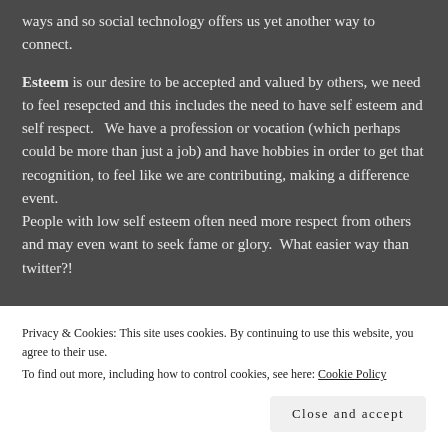ways and so social technology offers us yet another way to connect.
Esteem is our desire to be accepted and valued by others, we need to feel resepcted and this includes the need to have self esteem and self respect.   We have a profession or vocation (which perhaps could be more than just a job) and have hobbies in order to get that recognition, to feel like we are contributing, making a difference event.
People with low self esteem often need more respect from others and may even want to seek fame or glory.  What easier way than twitter?!
Privacy & Cookies: This site uses cookies. By continuing to use this website, you agree to their use.
To find out more, including how to control cookies, see here: Cookie Policy
Close and accept